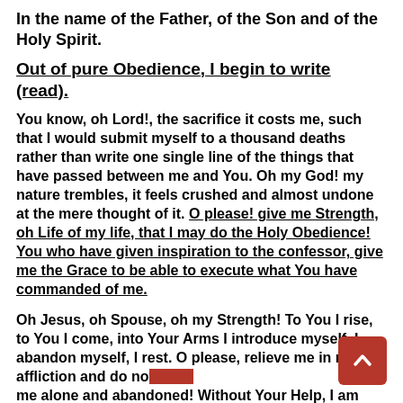In the name of the Father, of the Son and of the Holy Spirit.
Out of pure Obedience, I begin to write (read).
You know, oh Lord!, the sacrifice it costs me, such that I would submit myself to a thousand deaths rather than write one single line of the things that have passed between me and You. Oh my God! my nature trembles, it feels crushed and almost undone at the mere thought of it. O please! give me Strength, oh Life of my life, that I may do the Holy Obedience! You who have given inspiration to the confessor, give me the Grace to be able to execute what You have commanded of me.
Oh Jesus, oh Spouse, oh my Strength! To You I rise, to You I come, into Your Arms I introduce myself, I abandon myself, I rest. O please, relieve me in my affliction and do not leave me alone and abandoned! Without Your Help, I am sure I will not have the Strength to do this obedience that costs